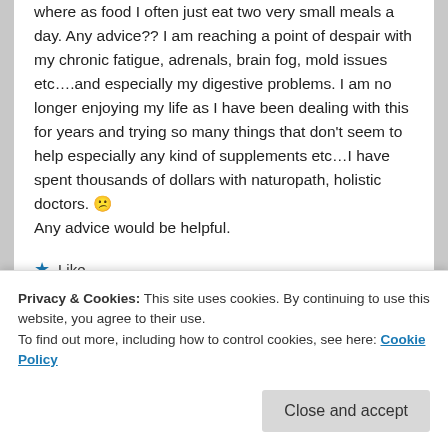where as food I often just eat two very small meals a day. Any advice?? I am reaching a point of despair with my chronic fatigue, adrenals, brain fog, mold issues etc….and especially my digestive problems. I am no longer enjoying my life as I have been dealing with this for years and trying so many things that don't seem to help especially any kind of supplements etc…I have spent thousands of dollars with naturopath, holistic doctors. 😕 Any advice would be helpful.
Like
Reply ↓
Privacy & Cookies: This site uses cookies. By continuing to use this website, you agree to their use. To find out more, including how to control cookies, see here: Cookie Policy
Close and accept